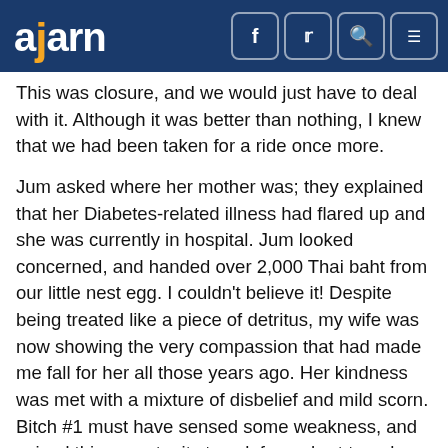ajarn
This was closure, and we would just have to deal with it. Although it was better than nothing, I knew that we had been taken for a ride once more.
Jum asked where her mother was; they explained that her Diabetes-related illness had flared up and she was currently in hospital. Jum looked concerned, and handed over 2,000 Thai baht from our little nest egg. I couldn't believe it! Despite being treated like a piece of detritus, my wife was now showing the very compassion that had made me fall for her all those years ago. Her kindness was met with a mixture of disbelief and mild scorn. Bitch #1 must have sensed some weakness, and seized this opportunity to ask for a short term loan.
'Ee Kwai – Bai! (Get lost, you water buffalo – only in harsher terms!)' Jum made short work of the cheeky request and I laughed inwardly as the rest of the throng sniggered at the spurned sister.